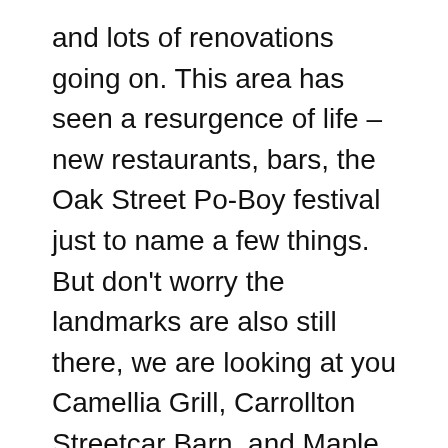and lots of renovations going on. This area has seen a resurgence of life – new restaurants, bars, the Oak Street Po-Boy festival just to name a few things. But don't worry the landmarks are also still there, we are looking at you Camellia Grill, Carrollton Streetcar Barn, and Maple Leaf Bar.
Palmer Park is an impressive park in the neighborhood – giving green space, a playground, and even hosts an art market once a month! Be sure to